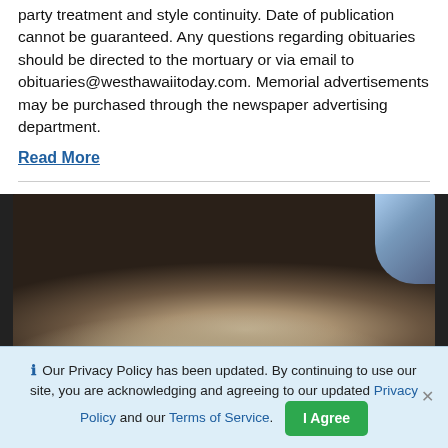party treatment and style continuity. Date of publication cannot be guaranteed. Any questions regarding obituaries should be directed to the mortuary or via email to obituaries@westhawaiitoday.com. Memorial advertisements may be purchased through the newspaper advertising department.
Read More
[Figure (photo): A close-up photo of the top of a person's head with gray/silver hair, taken inside a vehicle. A window with light is visible in the upper right corner.]
Our Privacy Policy has been updated. By continuing to use our site, you are acknowledging and agreeing to our updated Privacy Policy and our Terms of Service.